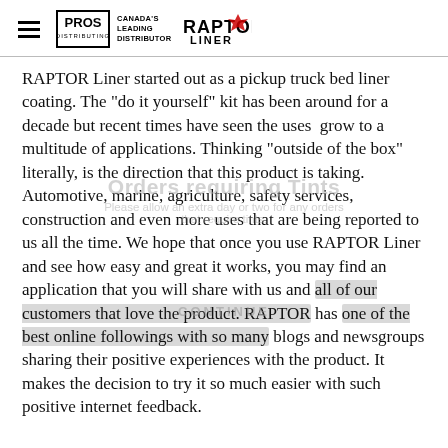PROS Distributing — Canada's Leading Distributor — Raptor Liner
RAPTOR Liner started out as a pickup truck bed liner coating. The "do it yourself" kit has been around for a decade but recent times have seen the uses grow to a multitude of applications. Thinking "outside of the box" literally, is the direction that this product is taking. Automotive, marine, agriculture, safety services, construction and even more uses that are being reported to us all the time. We hope that once you use RAPTOR Liner and see how easy and great it works, you may find an application that you will share with us and all of our customers that love the product. RAPTOR has one of the best online followings with so many blogs and newsgroups sharing their positive experiences with the product. It makes the decision to try it so much easier with such positive internet feedback.